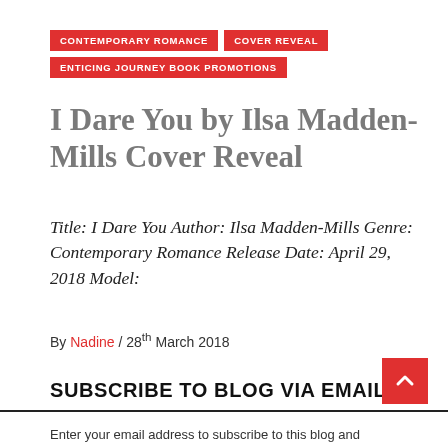CONTEMPORARY ROMANCE   COVER REVEAL   ENTICING JOURNEY BOOK PROMOTIONS
I Dare You by Ilsa Madden-Mills Cover Reveal
Title: I Dare You Author: Ilsa Madden-Mills Genre: Contemporary Romance Release Date: April 29, 2018 Model:
By Nadine / 28th March 2018
SUBSCRIBE TO BLOG VIA EMAIL
Enter your email address to subscribe to this blog and